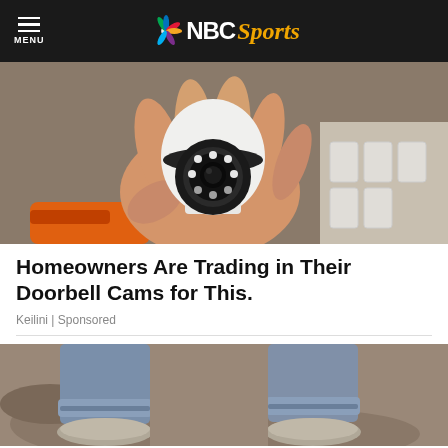NBC Sports
[Figure (photo): A hand holding a small white security/doorbell camera with LED ring and black lens, with more cameras in a box in the background and an orange tool visible]
Homeowners Are Trading in Their Doorbell Cams for This.
Keilini | Sponsored
[Figure (photo): Person wearing rolled-up jeans and grey slip-on shoes standing on rocky ground]